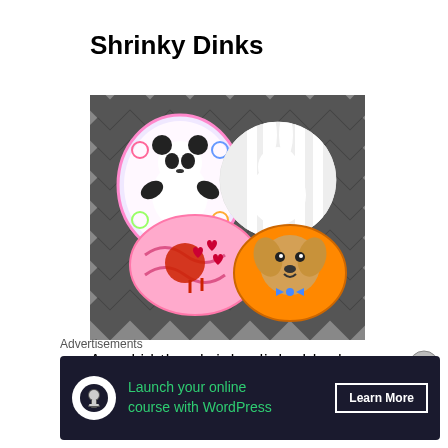Shrinky Dinks
[Figure (photo): Four decorative Shrinky Dink oval/circle charms on a woven zebra-stripe fabric background: a panda with colorful swirls, a black-and-white rabbit, a pink heart design, and a dog portrait on orange.]
As a kid the shrinky dinks I had
Advertisements
[Figure (infographic): Advertisement banner: dark background with WordPress logo icon, green text 'Launch your online course with WordPress', and a 'Learn More' button.]